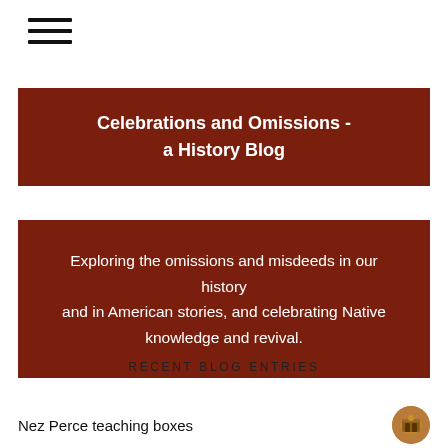[Figure (other): Hamburger menu icon with three horizontal lines]
Celebrations and Omissions - a History Blog
Exploring the omissions and misdeeds in our history and in American stories, and celebrating Native knowledge and revival.
RECENT BLOG ENTRIES
Nez Perce teaching boxes